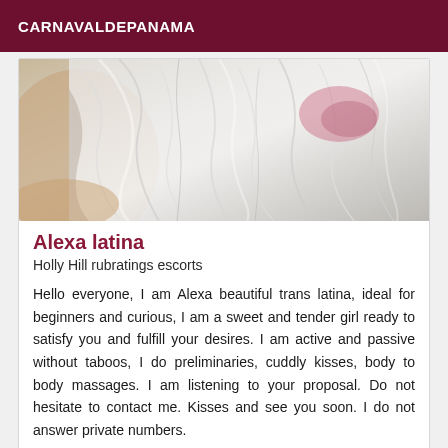CARNAVALDEPANAMA
[Figure (photo): A blurred close-up photograph with shiny, crinkled silver/white material and some reddish tones visible in the center-right area.]
Alexa latina
Holly Hill rubratings escorts
Hello everyone, I am Alexa beautiful trans latina, ideal for beginners and curious, I am a sweet and tender girl ready to satisfy you and fulfill your desires. I am active and passive without taboos, I do preliminaries, cuddly kisses, body to body massages. I am listening to your proposal. Do not hesitate to contact me. Kisses and see you soon. I do not answer private numbers.